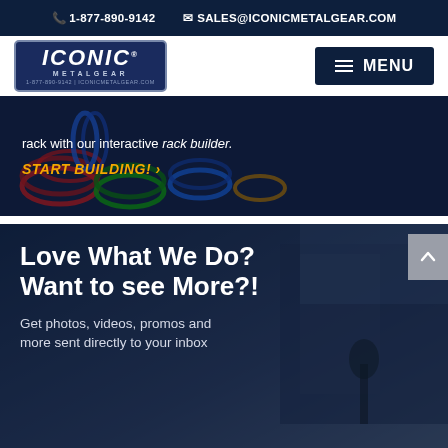1-877-890-9142   SALES@ICONICMETALGEAR.COM
[Figure (logo): Iconic Metal Gear logo — dark blue badge with 'ICONIC' in bold italic white text and 'METALGEAR' below]
MENU
[Figure (photo): Banner photo showing colorful coiled cables/springs in a rack, with text overlay: 'rack with our interactive rack builder.' and orange italic 'START BUILDING! ›']
[Figure (photo): Banner photo showing a vehicle/trailer in dark blue overlay, with bold white text 'Love What We Do? Want to see More?!' and lighter text 'Get photos, videos, promos and more sent directly to your inbox']